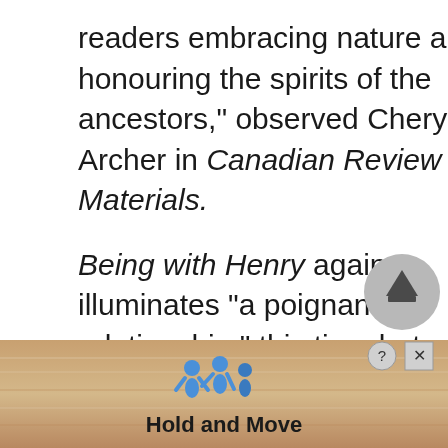readers embracing nature and honouring the spirits of the ancestors," observed Cheryl Archer in Canadian Review of Materials.
Being with Henry again illuminates "a poignant relationship," this time between a teen runaway and an eighty-year-old widower, related a Publishers Weekly reviewer. Laker, the teenaged character, leaves home after a heated exchange with his verbally abu[sed]...
[Figure (other): Scroll-to-top button (grey circular arrow icon) and advertisement banner overlay at the bottom of the page showing 'Hold and Move' text with blue human figure icons, with help and close buttons.]